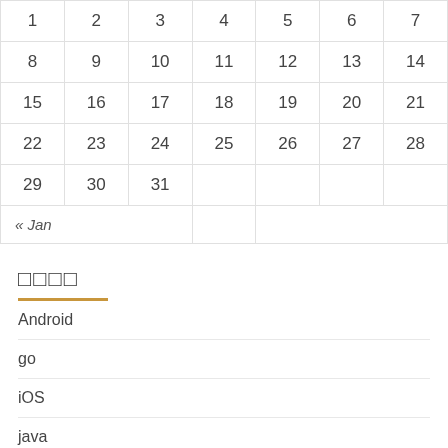| 1 | 2 | 3 | 4 | 5 | 6 | 7 |
| 8 | 9 | 10 | 11 | 12 | 13 | 14 |
| 15 | 16 | 17 | 18 | 19 | 20 | 21 |
| 22 | 23 | 24 | 25 | 26 | 27 | 28 |
| 29 | 30 | 31 |  |  |  |  |
| « Jan |  |  |  |  |  |  |
□□□□
Android
go
iOS
java